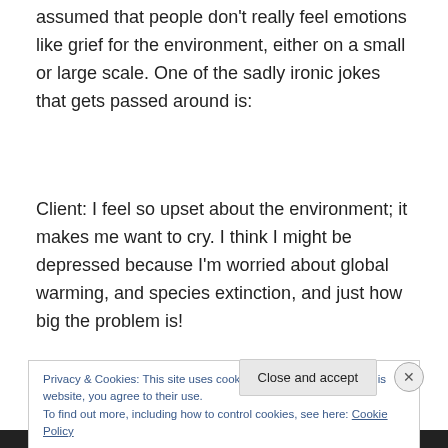assumed that people don't really feel emotions like grief for the environment, either on a small or large scale. One of the sadly ironic jokes that gets passed around is:
Client: I feel so upset about the environment; it makes me want to cry. I think I might be depressed because I'm worried about global warming, and species extinction, and just how big the problem is!
Privacy & Cookies: This site uses cookies. By continuing to use this website, you agree to their use.
To find out more, including how to control cookies, see here: Cookie Policy